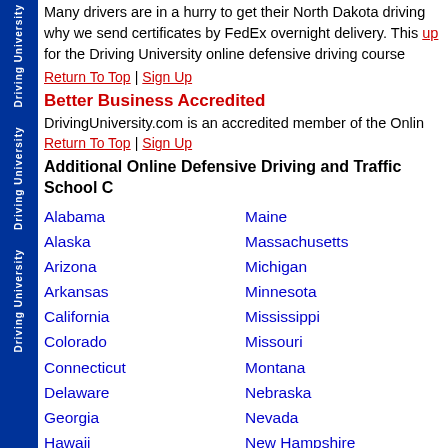Many drivers are in a hurry to get their North Dakota driving why we send certificates by FedEx overnight delivery. This up for the Driving University online defensive driving course
Return To Top | Sign Up
Better Business Accredited
DrivingUniversity.com is an accredited member of the Online
Return To Top | Sign Up
Additional Online Defensive Driving and Traffic School C
Alabama
Alaska
Arizona
Arkansas
California
Colorado
Connecticut
Delaware
Georgia
Hawaii
Idaho
Illinois
Maine
Massachusetts
Michigan
Minnesota
Mississippi
Missouri
Montana
Nebraska
Nevada
New Hampshire
New Jersey
New Mexico